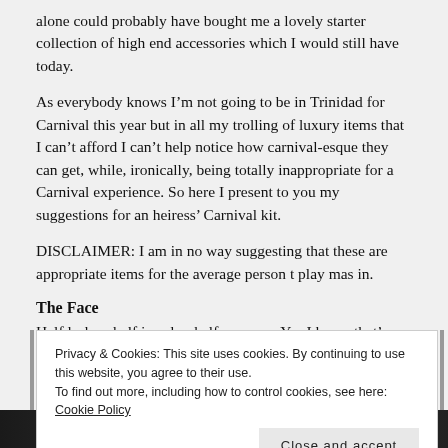alone could probably have bought me a lovely starter collection of high end accessories which I would still have today.
As everybody knows I’m not going to be in Trinidad for Carnival this year but in all my trolling of luxury items that I can’t afford I can’t help notice how carnival-esque they can get, while, ironically, being totally inappropriate for a Carnival experience. So here I present to you my suggestions for an heiress’ Carnival kit.
DISCLAIMER: I am in no way suggesting that these are appropriate items for the average person t play mas in.
The Face
Half lashes, half jewelry, half eyewear. Yes I know that’s one and a
Privacy & Cookies: This site uses cookies. By continuing to use this website, you agree to their use. To find out more, including how to control cookies, see here: Cookie Policy
Close and accept
[Figure (photo): Bottom strip showing a dark background with the Bazaar magazine logo text visible]